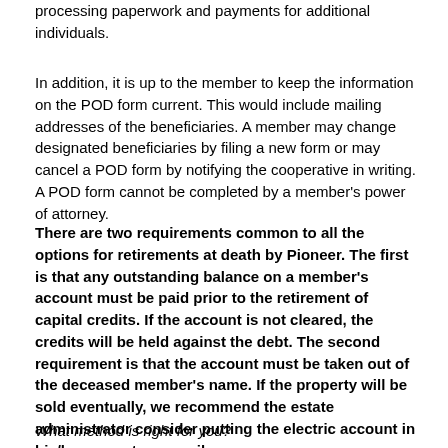The fee helps cover the administrative costs associated with processing paperwork and payments for additional individuals.
In addition, it is up to the member to keep the information on the POD form current. This would include mailing addresses of the beneficiaries. A member may change designated beneficiaries by filing a new form or may cancel a POD form by notifying the cooperative in writing. A POD form cannot be completed by a member's power of attorney.
There are two requirements common to all the options for retirements at death by Pioneer. The first is that any outstanding balance on a member's account must be paid prior to the retirement of capital credits. If the account is not cleared, the credits will be held against the debt. The second requirement is that the account must be taken out of the deceased member's name. If the property will be sold eventually, we recommend the estate administrator consider putting the electric account in his/her name temporarily.
What method is right for you?